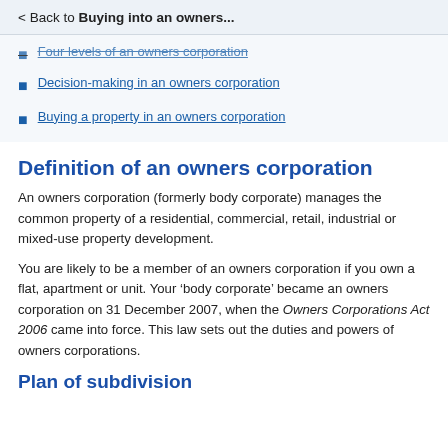< Back to Buying into an owners...
Four levels of an owners corporation
Decision-making in an owners corporation
Buying a property in an owners corporation
Definition of an owners corporation
An owners corporation (formerly body corporate) manages the common property of a residential, commercial, retail, industrial or mixed-use property development.
You are likely to be a member of an owners corporation if you own a flat, apartment or unit. Your ‘body corporate’ became an owners corporation on 31 December 2007, when the Owners Corporations Act 2006 came into force. This law sets out the duties and powers of owners corporations.
Plan of subdivision